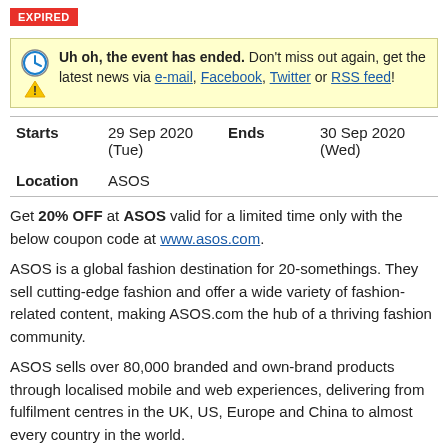EXPIRED
Uh oh, the event has ended. Don't miss out again, get the latest news via e-mail, Facebook, Twitter or RSS feed!
| Starts | 29 Sep 2020 (Tue) | Ends | 30 Sep 2020 (Wed) |
| Location | ASOS |  |  |
Get 20% OFF at ASOS valid for a limited time only with the below coupon code at www.asos.com.
ASOS is a global fashion destination for 20-somethings. They sell cutting-edge fashion and offer a wide variety of fashion-related content, making ASOS.com the hub of a thriving fashion community.
ASOS sells over 80,000 branded and own-brand products through localised mobile and web experiences, delivering from fulfilment centres in the UK, US, Europe and China to almost every country in the world.